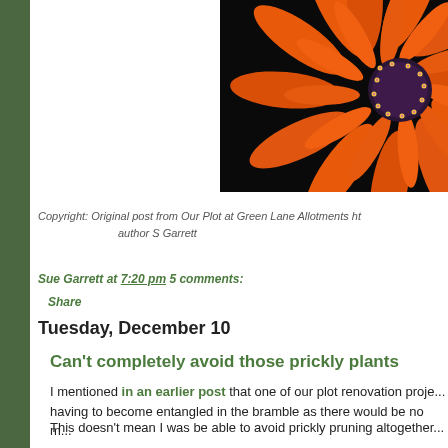[Figure (photo): Close-up photograph of an orange gerbera daisy flower on a dark background, showing bright orange petals and a dark purple-black center with yellow stamens]
Copyright: Original post from Our Plot at Green Lane Allotments ht... author S Garrett
Sue Garrett at 7:20 pm 5 comments:
    Share
Tuesday, December 10
Can't completely avoid those prickly plants
I mentioned in an earlier post that one of our plot renovation proje... having to become entangled in the bramble as there would be no m...
This doesn't mean I was be able to avoid prickly pruning altogether...